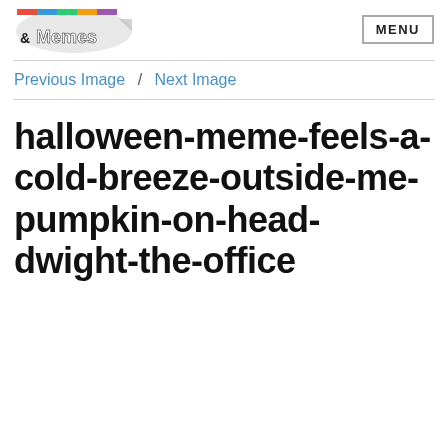&Memes | MENU
Previous Image / Next Image
halloween-meme-feels-a-cold-breeze-outside-me-pumpkin-on-head-dwight-the-office